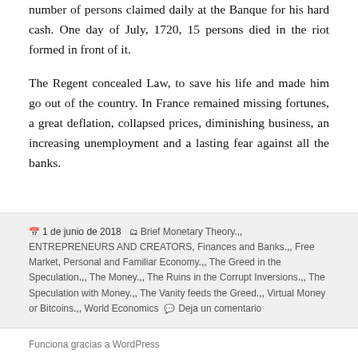number of persons claimed daily at the Banque for his hard cash. One day of July, 1720, 15 persons died in the riot formed in front of it.
The Regent concealed Law, to save his life and made him go out of the country. In France remained missing fortunes, a great deflation, collapsed prices, diminishing business, an increasing unemployment and a lasting fear against all the banks.
1 de junio de 2018  Brief Monetary Theory,, ENTREPRENEURS AND CREATORS, Finances and Banks,, Free Market, Personal and Familiar Economy,, The Greed in the Speculation.,, The Money.,, The Ruins in the Corrupt Inversions.,, The Speculation with Money.,, The Vanity feeds the Greed.,, Virtual Money or Bitcoins.,, World Economics  Deja un comentario
Funciona gracias a WordPress